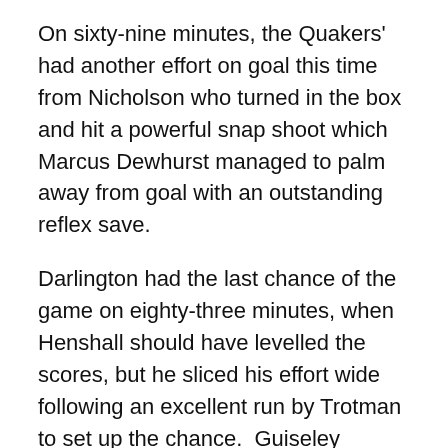On sixty-nine minutes, the Quakers' had another effort on goal this time from Nicholson who turned in the box and hit a powerful snap shoot which Marcus Dewhurst managed to palm away from goal with an outstanding reflex save.
Darlington had the last chance of the game on eighty-three minutes, when Henshall should have levelled the scores, but he sliced his effort wide following an excellent run by Trotman to set up the chance.  Guiseley defended really well in the second-half and fully deserved their clean sheet to win the game 1-0 and confirm their place in the Vanarama National League North next season.
After the game Cliff Moyo was awarded the Supporters Player of the Year Award and the Vanarama National League confirmed that at defeats both Ashton United and